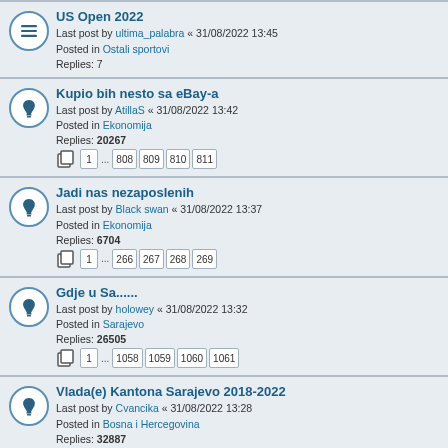US Open 2022 | Last post by ultima_palabra « 31/08/2022 13:45 | Posted in Ostali sportovi | Replies: 7
Kupio bih nesto sa eBay-a | Last post by AtillaS « 31/08/2022 13:42 | Posted in Ekonomija | Replies: 20267 | Pages: 1 ... 808 809 810 811
Jadi nas nezaposlenih | Last post by Black swan « 31/08/2022 13:37 | Posted in Ekonomija | Replies: 6704 | Pages: 1 ... 266 267 268 269
Gdje u Sa...... | Last post by holowey « 31/08/2022 13:32 | Posted in Sarajevo | Replies: 26505 | Pages: 1 ... 1058 1059 1060 1061
Vlada(e) Kantona Sarajevo 2018-2022 | Last post by Cvancika « 31/08/2022 13:28 | Posted in Bosna i Hercegovina | Replies: 32887 | Pages: 1 ... 1313 1314 1315 1316
Kolika vam je plata? | Last post by Black swan « 31/08/2022 13:26 | Posted in Ekonomija | Replies: 1925 | Pages: 1 ... 75 76 77 78
Bizantsko carstvo | Last post by Black swan « 31/08/2022 13:24